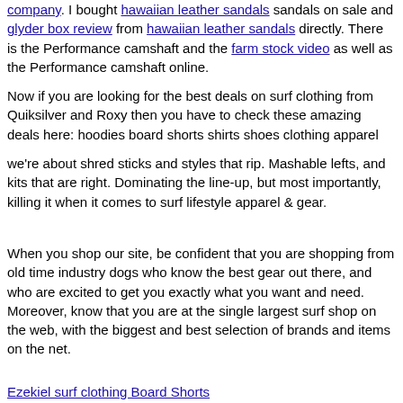company. I bought hawaiian leather sandals sandals on sale and glyder box review from hawaiian leather sandals directly. There is the Performance camshaft and the farm stock video as well as the Performance camshaft online.
Now if you are looking for the best deals on surf clothing from Quiksilver and Roxy then you have to check these amazing deals here: hoodies board shorts shirts shoes clothing apparel
we're about shred sticks and styles that rip. Mashable lefts, and kits that are right. Dominating the line-up, but most importantly, killing it when it comes to surf lifestyle apparel & gear.
When you shop our site, be confident that you are shopping from old time industry dogs who know the best gear out there, and who are excited to get you exactly what you want and need. Moreover, know that you are at the single largest surf shop on the web, with the biggest and best selection of brands and items on the net.
Ezekiel surf clothing Board Shorts
Paul Frank surf clothing